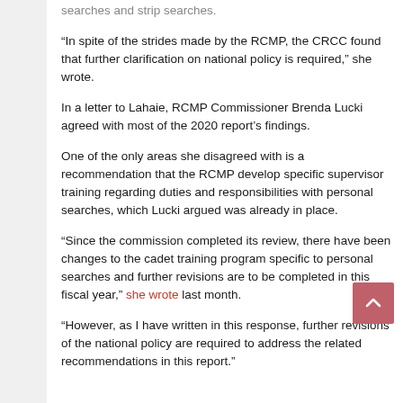searches and strip searches.
“In spite of the strides made by the RCMP, the CRCC found that further clarification on national policy is required,” she wrote.
In a letter to Lahaie, RCMP Commissioner Brenda Lucki agreed with most of the 2020 report’s findings.
One of the only areas she disagreed with is a recommendation that the RCMP develop specific supervisor training regarding duties and responsibilities with personal searches, which Lucki argued was already in place.
“Since the commission completed its review, there have been changes to the cadet training program specific to personal searches and further revisions are to be completed in this fiscal year,” she wrote last month.
“However, as I have written in this response, further revisions of the national policy are required to address the related recommendations in this report.”